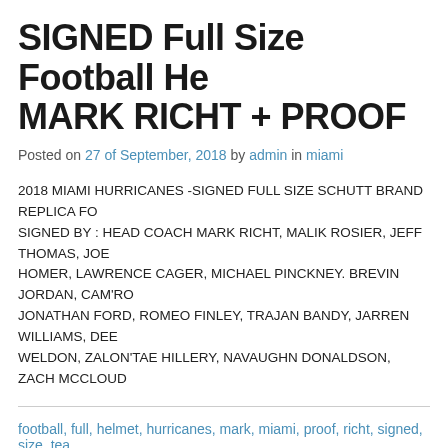SIGNED Full Size Football He MARK RICHT + PROOF
Posted on 27 of September, 2018 by admin in miami
2018 MIAMI HURRICANES -SIGNED FULL SIZE SCHUTT BRAND REPLICA FO SIGNED BY : HEAD COACH MARK RICHT, MALIK ROSIER, JEFF THOMAS, JOE HOMER, LAWRENCE CAGER, MICHAEL PINCKNEY. BREVIN JORDAN, CAM'RO JONATHAN FORD, ROMEO FINLEY, TRAJAN BANDY, JARREN WILLIAMS, DEE WELDON, ZALON'TAE HILLERY, NAVAUGHN DONALDSON, ZACH MCCLOUD
football, full, helmet, hurricanes, mark, miami, proof, richt, signed, size, tea [Top]
MIAMI HURRICANES NCAA S